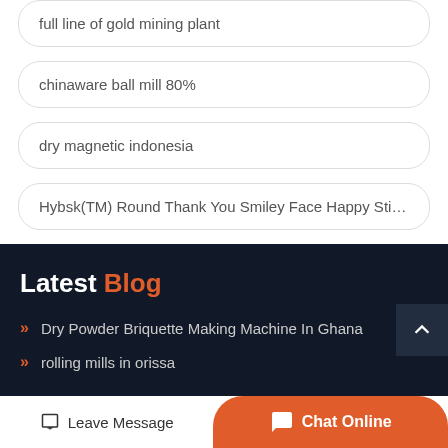full line of gold mining plant
chinaware ball mill 80%
dry magnetic indonesia
Hybsk(TM) Round Thank You Smiley Face Happy Stickers …
Latest Blog
Dry Powder Briquette Making Machine In Ghana
rolling mills in orissa
Leave Message | Chat Online